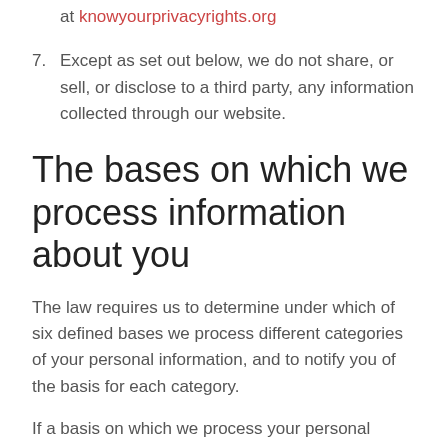at knowyourprivacyrights.org
7. Except as set out below, we do not share, or sell, or disclose to a third party, any information collected through our website.
The bases on which we process information about you
The law requires us to determine under which of six defined bases we process different categories of your personal information, and to notify you of the basis for each category.
If a basis on which we process your personal